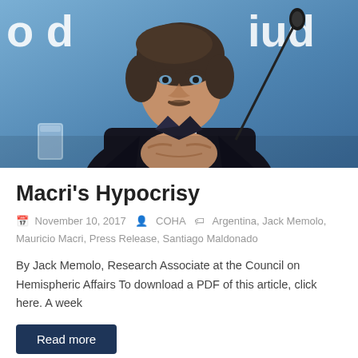[Figure (photo): Photo of a man in a dark suit with clasped hands at a press conference, with a blue banner background reading partial text 'o de iud', a microphone in the foreground, and a water glass on the table.]
Macri's Hypocrisy
November 10, 2017  COHA  Argentina, Jack Memolo, Mauricio Macri, Press Release, Santiago Maldonado
By Jack Memolo, Research Associate at the Council on Hemispheric Affairs To download a PDF of this article, click here. A week
Read more